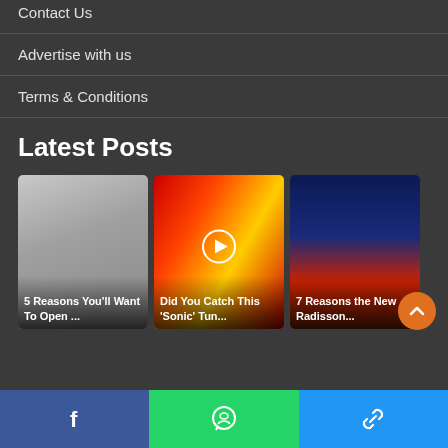Contact Us
Advertise with us
Terms & Conditions
Latest Posts
[Figure (photo): Card: 5 Reasons You'll Want To Open ...]
[Figure (photo): Card with play button: Did You Catch This 'Sonic' Tun...]
[Figure (photo): Card: 7 Reasons the New Radisson...]
Facebook | WhatsApp | Link share buttons